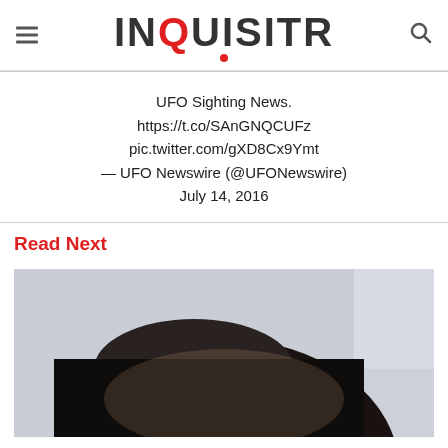INQUISITR
UFO Sighting News.
https://t.co/SAnGNQCUFz
pic.twitter.com/gXD8Cx9Ymt
— UFO Newswire (@UFONewswire)
July 14, 2016
Read Next
[Figure (photo): Cropped photo showing the top of a person's head with dark hair against a light grey background]